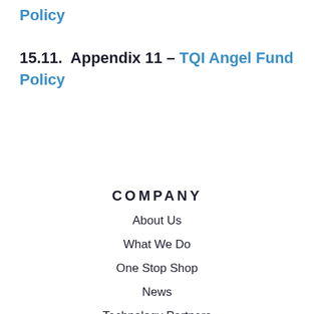Policy
15.11.  Appendix 11 – TQI Angel Fund Policy
COMPANY
About Us
What We Do
One Stop Shop
News
Technology Partners